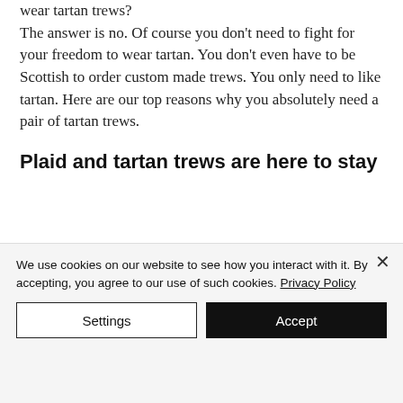wear tartan trews? The answer is no. Of course you don't need to fight for your freedom to wear tartan. You don't even have to be Scottish to order custom made trews. You only need to like tartan. Here are our top reasons why you absolutely need a pair of tartan trews.
Plaid and tartan trews are here to stay
We use cookies on our website to see how you interact with it. By accepting, you agree to our use of such cookies. Privacy Policy
Settings
Accept